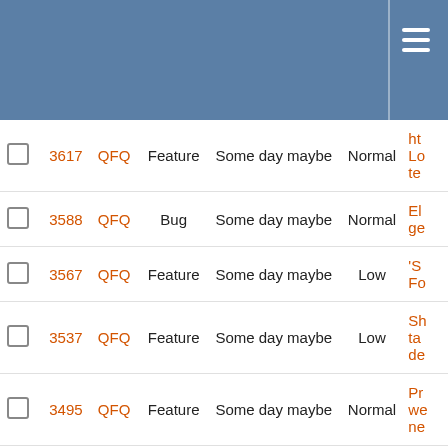|  | # | Project | Type | Milestone | Priority | Subject |
| --- | --- | --- | --- | --- | --- | --- |
| ☐ | 3617 | QFQ | Feature | Some day maybe | Normal | ht Lo te... |
| ☐ | 3588 | QFQ | Bug | Some day maybe | Normal | El ge... |
| ☐ | 3567 | QFQ | Feature | Some day maybe | Low | 'S Fo... |
| ☐ | 3537 | QFQ | Feature | Some day maybe | Low | Sh ta de... |
| ☐ | 3495 | QFQ | Feature | Some day maybe | Normal | Pr we ne... |
| ☐ | 3458 | QFQ | Feature | Some day maybe | Normal | Di El fo Gi... |
| ☐ | 3457 | QFQ | Feature | Some day maybe | Normal | LD to... |
| ☐ | 3415 | QFQ | Feature | Some day maybe | Normal | FE... |
| ☐ | ... | QFQ | Feature | Some day maybe | Normal | te... |